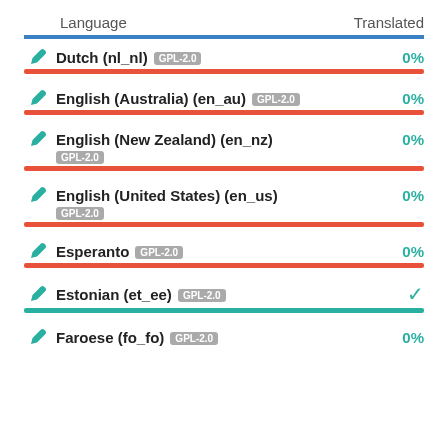| Language | Translated |
| --- | --- |
| Dutch (nl_nl) GPL-2.0 | 0% |
| English (Australia) (en_au) GPL-2.0 | 0% |
| English (New Zealand) (en_nz) GPL-2.0 | 0% |
| English (United States) (en_us) GPL-2.0 | 0% |
| Esperanto GPL-2.0 | 0% |
| Estonian (et_ee) GPL-2.0 | ✓ |
| Faroese (fo_fo) GPL-2.0 | 0% |